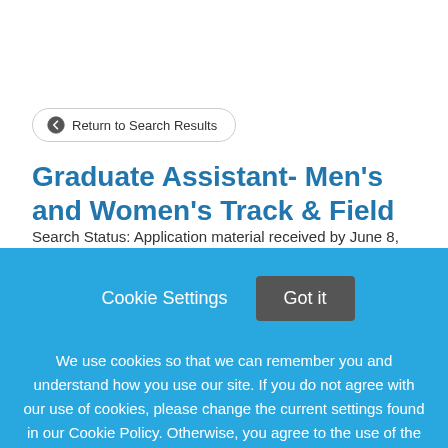Return to Search Results
Graduate Assistant- Men's and Women's Track & Field
Search Status: Application material received by June 8,
Cookie Settings
Got it
We use cookies so that we can remember you and understand how you use our site. If you do not agree with our use of cookies, please change the current settings found in our Cookie Policy. Otherwise, you agree to the use of the cookies as they are currently set.